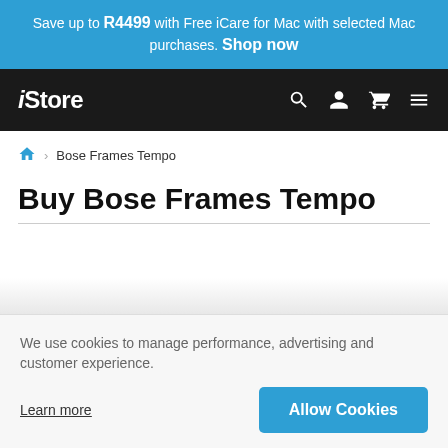Save up to R4499 with Free iCare for Mac with selected Mac purchases. Shop now
iStore
Bose Frames Tempo
Buy Bose Frames Tempo
We use cookies to manage performance, advertising and customer experience.
Learn more
Allow Cookies